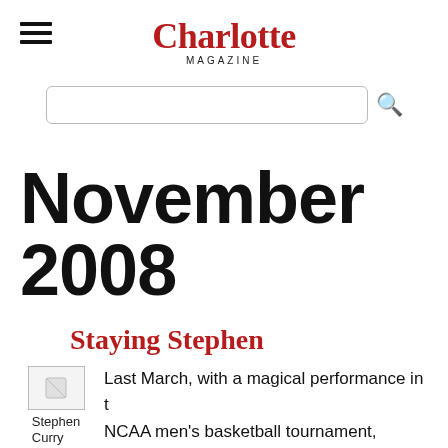Charlotte MAGAZINE
November 2008
Staying Stephen
[Figure (photo): Broken image placeholder for Stephen Curry photo]
Stephen Curry
Last March, with a magical performance in the NCAA men's basketball tournament, Davidson guard Stephen Curry became an instant national celebrity. Now he returns for his junior seas...